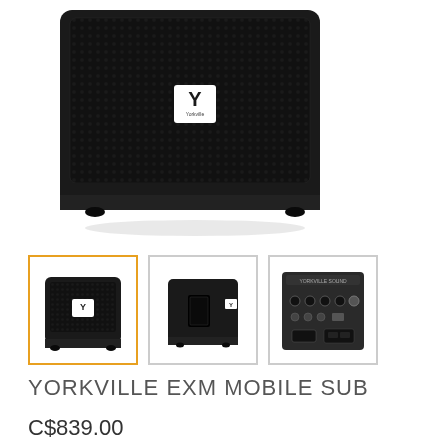[Figure (photo): Front view of Yorkville EXM Mobile Sub speaker — a black subwoofer cabinet with metal mesh grille and Yorkville logo badge in the center, resting on rubber feet, photographed against a white background.]
[Figure (photo): Thumbnail 1: Front-angle view of Yorkville EXM Mobile Sub, selected (orange border).]
[Figure (photo): Thumbnail 2: Side/rear-angle view of Yorkville EXM Mobile Sub showing the port opening.]
[Figure (photo): Thumbnail 3: Rear panel view of Yorkville EXM Mobile Sub showing connectors and controls.]
YORKVILLE EXM MOBILE SUB
C$839.00